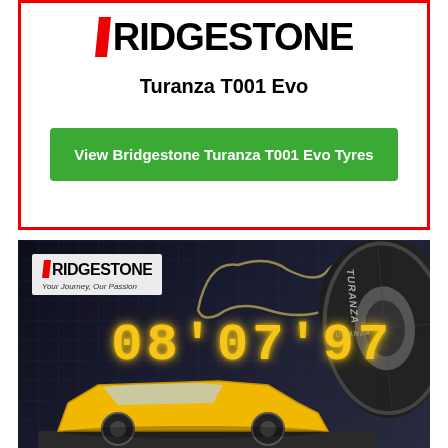[Figure (logo): Bridgestone logo with red slash B and bold RIDGESTONE text]
Turanza T001 Evo
View Bridgestone Turanza T001 Evo Tyres
[Figure (photo): Bridgestone advertising banner with logo, Nurburgring track outline, lap time 08'07'97 in yellow digital display, close-up tyre on right, yellow sports car at bottom, dark background with grid overlay. Tagline: Your Journey, Our Passion]